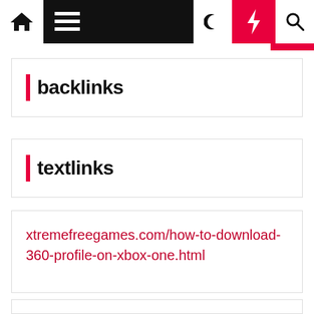Navigation bar with home, menu, dark mode, lightning, and search icons
backlinks
textlinks
xtremefreegames.com/how-to-download-360-profile-on-xbox-one.html